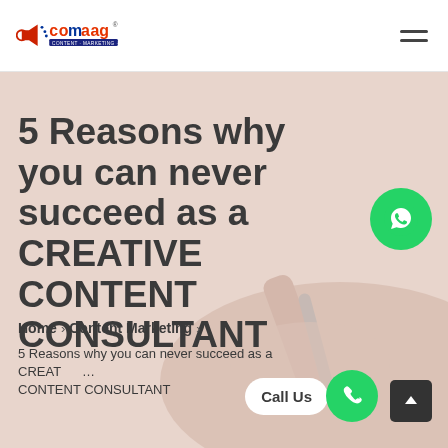comaag — Content Marketing Agency logo and navigation hamburger menu
5 Reasons why you can never succeed as a CREATIVE CONTENT CONSULTANT
Home > Content Marketing >
5 Reasons why you can never succeed as a CREATIVE CONTENT CONSULTANT
[Figure (illustration): Hand writing with pen, background decorative image in hero area]
[Figure (illustration): Green WhatsApp floating action button with phone/chat icon]
[Figure (illustration): Green Call Us floating button with phone icon, and dark scroll-to-top button]